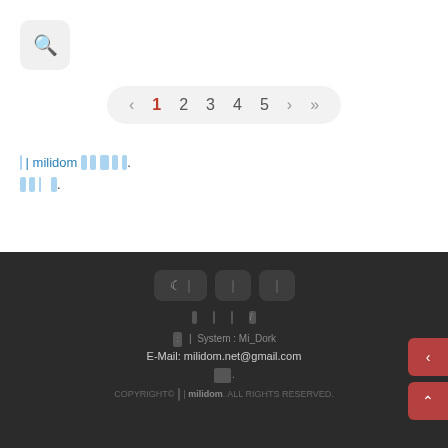[Figure (screenshot): Search button icon (magnifying glass) in light gray rounded square]
[Figure (screenshot): Pagination bar with arrows and page numbers 1-5, page 1 highlighted in red]
[Korean text] | milidom [Korean text with blue highlighted portions]
COPYRIGHT© [Korean] | milidom. ALL RIGHTS RESERVED.